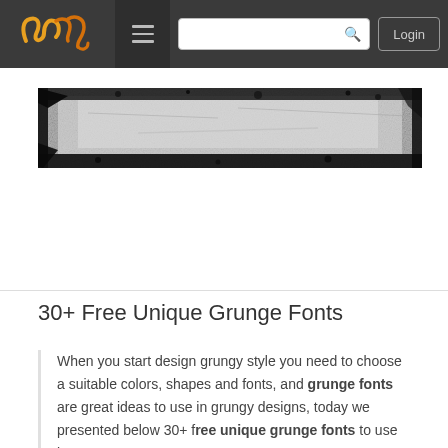Navigation bar with logo, menu, search, and Login button
[Figure (photo): Grunge texture banner image — a horizontal strip showing a grungy stone/concrete surface with black worn edges, in grayscale tones]
30+ Free Unique Grunge Fonts
When you start design grungy style you need to choose a suitable colors, shapes and fonts, and grunge fonts are great ideas to use in grungy designs, today we presented below 30+ free unique grunge fonts to use in your next grungy